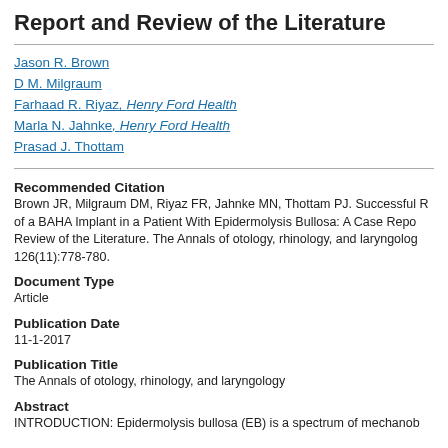Report and Review of the Literature
Jason R. Brown
D M. Milgraum
Farhaad R. Riyaz, Henry Ford Health
Marla N. Jahnke, Henry Ford Health
Prasad J. Thottam
Recommended Citation
Brown JR, Milgraum DM, Riyaz FR, Jahnke MN, Thottam PJ. Successful R of a BAHA Implant in a Patient With Epidermolysis Bullosa: A Case Repo Review of the Literature. The Annals of otology, rhinology, and laryngolog 126(11):778-780.
Document Type
Article
Publication Date
11-1-2017
Publication Title
The Annals of otology, rhinology, and laryngology
Abstract
INTRODUCTION: Epidermolysis bullosa (EB) is a spectrum of mechanob